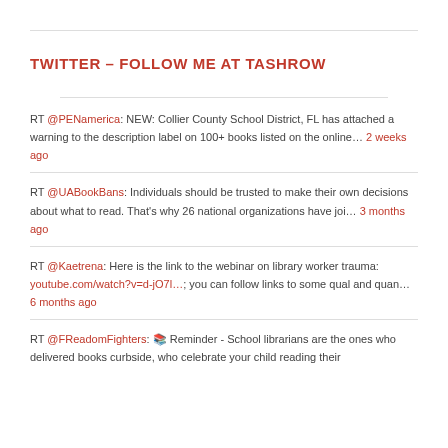TWITTER – FOLLOW ME AT TASHROW
RT @PENamerica: NEW: Collier County School District, FL has attached a warning to the description label on 100+ books listed on the online… 2 weeks ago
RT @UABookBans: Individuals should be trusted to make their own decisions about what to read. That's why 26 national organizations have joi… 3 months ago
RT @Kaetrena: Here is the link to the webinar on library worker trauma: youtube.com/watch?v=d-jO7l…; you can follow links to some qual and quan… 6 months ago
RT @FReadomFighters: 📚 Reminder - School librarians are the ones who delivered books curbside, who celebrate your child reading their